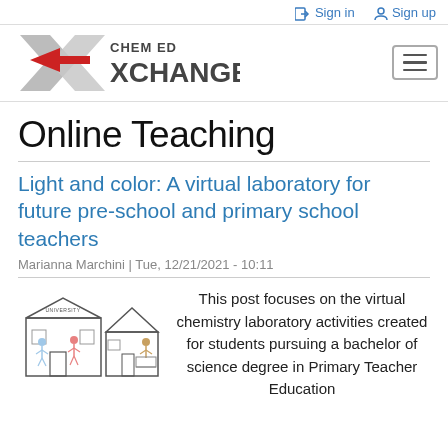Sign in  Sign up
[Figure (logo): Chem Ed XChange logo with a large stylized X in silver with a red arrow, and text CHEM ED XCHANGE]
Online Teaching
Light and color: A virtual laboratory for future pre-school and primary school teachers
Marianna Marchini | Tue, 12/21/2021 - 10:11
[Figure (illustration): Two illustrated icons: a university building with figures inside, and a house with a person at a computer]
This post focuses on the virtual chemistry laboratory activities created for students pursuing a bachelor of science degree in Primary Teacher Education